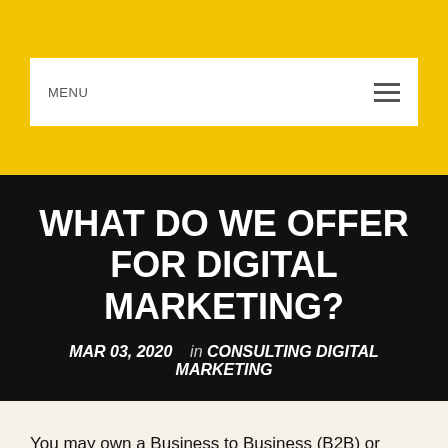MENU
WHAT DO WE OFFER FOR DIGITAL MARKETING?
MAR 03, 2020   in CONSULTING DIGITAL MARKETING
You may own a Business to Business (B2B) or Business to Customer (B2C) Company and employ hefty budget on marketing campaigns every now and then.  But if we say, DigitalVillage.In would help to build and retain the customer base for your organization and that t…